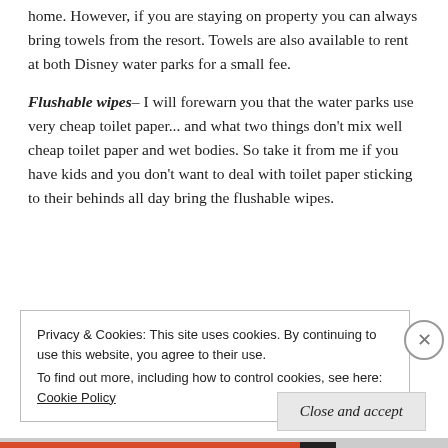home. However, if you are staying on property you can always bring towels from the resort. Towels are also available to rent at both Disney water parks for a small fee.
Flushable wipes– I will forewarn you that the water parks use very cheap toilet paper... and what two things don't mix well cheap toilet paper and wet bodies. So take it from me if you have kids and you don't want to deal with toilet paper sticking to their behinds all day bring the flushable wipes.
Privacy & Cookies: This site uses cookies. By continuing to use this website, you agree to their use. To find out more, including how to control cookies, see here: Cookie Policy